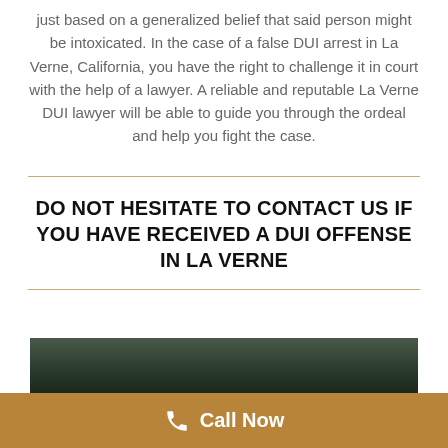just based on a generalized belief that said person might be intoxicated. In the case of a false DUI arrest in La Verne, California, you have the right to challenge it in court with the help of a lawyer. A reliable and reputable La Verne DUI lawyer will be able to guide you through the ordeal and help you fight the case.
DO NOT HESITATE TO CONTACT US IF YOU HAVE RECEIVED A DUI OFFENSE IN LA VERNE
[Figure (photo): Partial view of a dark outdoor/nature photo, partially visible at the bottom of the page]